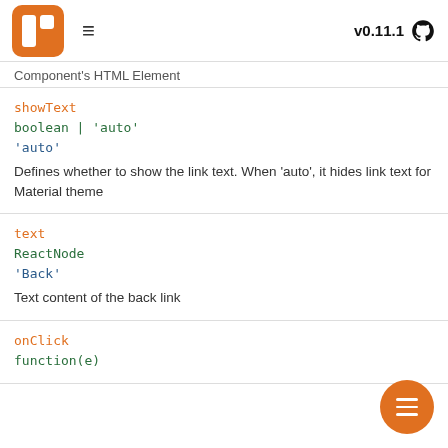v0.11.1
Component's HTML Element
showText
boolean | 'auto'
'auto'
Defines whether to show the link text. When 'auto', it hides link text for Material theme
text
ReactNode
'Back'
Text content of the back link
onClick
function(e)